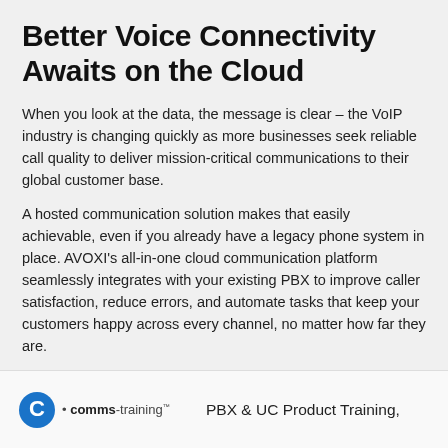Better Voice Connectivity Awaits on the Cloud
When you look at the data, the message is clear – the VoIP industry is changing quickly as more businesses seek reliable call quality to deliver mission-critical communications to their global customer base.
A hosted communication solution makes that easily achievable, even if you already have a legacy phone system in place. AVOXI's all-in-one cloud communication platform seamlessly integrates with your existing PBX to improve caller satisfaction, reduce errors, and automate tasks that keep your customers happy across every channel, no matter how far they are.
Sourced from: Avoxi. View the original article here.
PBX & UC Product Training,